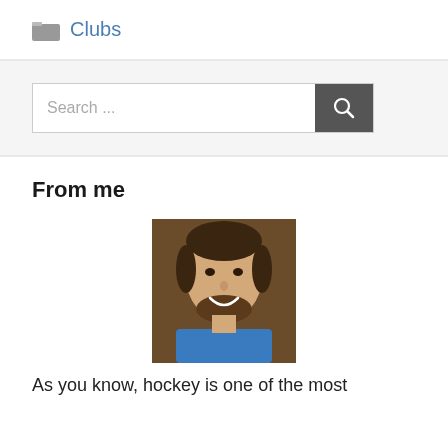Clubs
[Figure (photo): Headshot of a smiling man with short dark hair and beard, wearing a blue shirt, against a brown background]
From me
As you know, hockey is one of the most